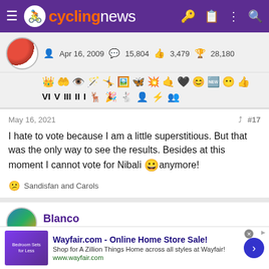cyclingnews
Apr 16, 2009  15,804  3,479  28,180
[Figure (other): Row of achievement badges and roman numeral badges for a forum user]
May 16, 2021  #17
I hate to vote because I am a little superstitious. But that was the only way to see the results. Besides at this moment I cannot vote for Nibali 😀anymore!
😕 Sandisfan and Carols
Blanco
[Figure (screenshot): Wayfair.com advertisement banner - Online Home Store Sale!]